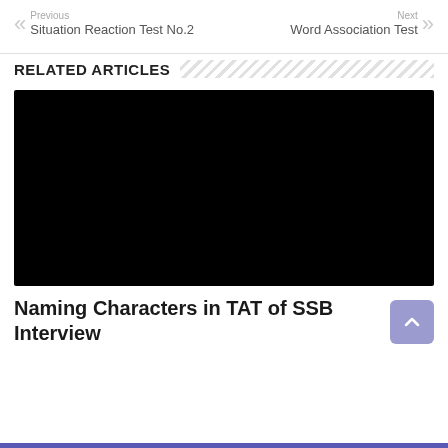Previous
Situation Reaction Test No.2
Next
Word Association Test
RELATED ARTICLES
[Figure (photo): Black image placeholder for related article thumbnail]
Naming Characters in TAT of SSB Interview